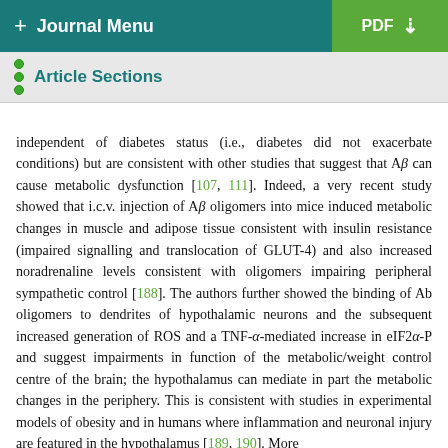+ Journal Menu | PDF
Article Sections
independent of diabetes status (i.e., diabetes did not exacerbate conditions) but are consistent with other studies that suggest that Aβ can cause metabolic dysfunction [107, 111]. Indeed, a very recent study showed that i.c.v. injection of Aβ oligomers into mice induced metabolic changes in muscle and adipose tissue consistent with insulin resistance (impaired signalling and translocation of GLUT-4) and also increased noradrenaline levels consistent with oligomers impairing peripheral sympathetic control [188]. The authors further showed the binding of Ab oligomers to dendrites of hypothalamic neurons and the subsequent increased generation of ROS and a TNF-α-mediated increase in eIF2α-P and suggest impairments in function of the metabolic/weight control centre of the brain; the hypothalamus can mediate in part the metabolic changes in the periphery. This is consistent with studies in experimental models of obesity and in humans where inflammation and neuronal injury are featured in the hypothalamus [189, 190]. More